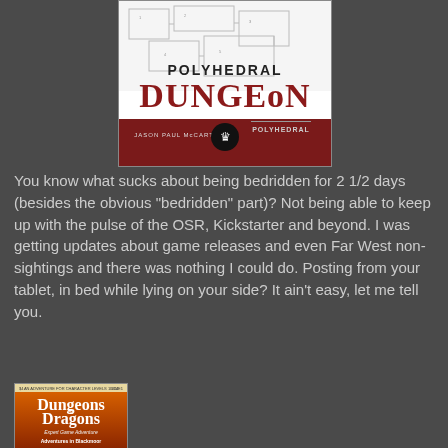[Figure (illustration): Book cover for 'Polyhedral Dungeon' by Jason Paul McCartan, showing dungeon map background with large red and black title text and a publisher logo at the bottom on a dark red banner.]
You know what sucks about being bedridden for 2 1/2 days (besides the obvious "bedridden" part)? Not being able to keep up with the pulse of the OSR, Kickstarter and beyond. I was getting updates about game releases and even Far West non-sightings and there was nothing I could do. Posting from your tablet, in bed while lying on your side? It ain't easy, let me tell you.
[Figure (illustration): Book cover for 'Dungeons & Dragons Expert Game Adventure: Adventures in Blackmoor' showing the classic D&D logo on an orange/red background.]